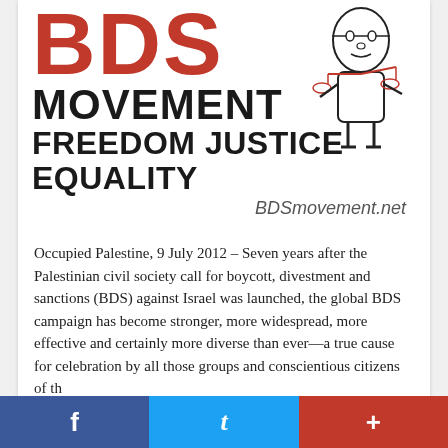[Figure (logo): BDS Movement logo with large red BDS letters, mascot figure holding scales, text MOVEMENT FREEDOM JUSTICE EQUALITY and BDSmovement.net]
Occupied Palestine, 9 July 2012 – Seven years after the Palestinian civil society call for boycott, divestment and sanctions (BDS) against Israel was launched, the global BDS campaign has become stronger, more widespread, more effective and certainly more diverse than ever—a true cause for celebration by all those groups and conscientious citizens of th
TRADE UNION SOLIDARITY
July 9, 2012 / By: Palestinian BDS National Committee